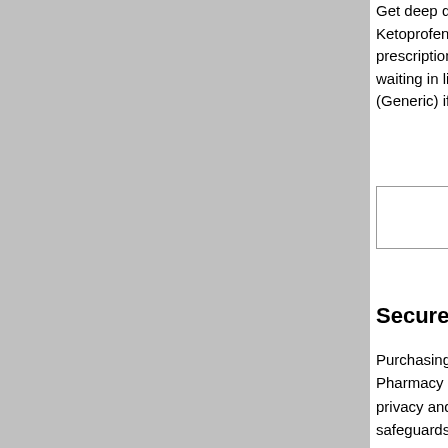Get deep discounts without leaving your house. Buy Ketoprofen (Generic) directly from an international prescriptions skyrocketing, obtaining discount d waiting in line. The foreign name is listed when y (Generic) if it differs from your country's local na
HealthTip: 2-Drug Combo Could Help Some W 6/7/2018 12:00:00 AM Read
Secure and Private
Purchasing discount Ketoprofen (Generic) online Pharmacy employees are trained to understand privacy and security. Pharmacies maintains phy safeguards to protect your personal information.
Click Buy Ketoprofen Online to order.
Ketoprofen - HealthCa
Brain 'Rewires' to Work Around Early
WEDNESDAY, March 22, 2017 (HealthDay New triggers the brain to make new connections that touch, as well as memory and language, a new